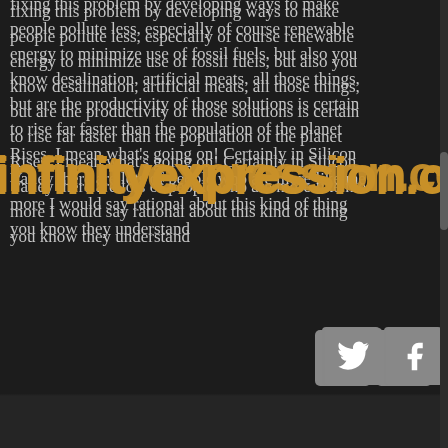fixing this problem by developing ways to make people pollute less, especially of course renewable energy to minimize use of fossil fuels, but also you know desalination, artificial meats, all those things, but are the productivity of those solutions is certain to rise far faster than the population of the planet Rises. I mean what's going on! Certainly in Silicon Valley there are lots of people who are more like me more I would say rational about this kind of thing you know they understand
[Figure (other): Watermark overlay text reading 'infinityexpression.com' in gold/amber color across the page]
[Figure (other): Two social media icon buttons: Twitter (bird icon) and Facebook (f icon), gray square backgrounds]
that their own efforts may help, they make a difference for their own chances or other people's chances of actually making the cruve, it's very important for people to have understand that this really is humanity's biggest problem and furthermore that it's a problem that we are in striking distance to solving. (Aubrey de Grey)"
"So when we look at the u.s. we look at a country that has the longest life spans and the shortest life spans in the same country due to the lack of access